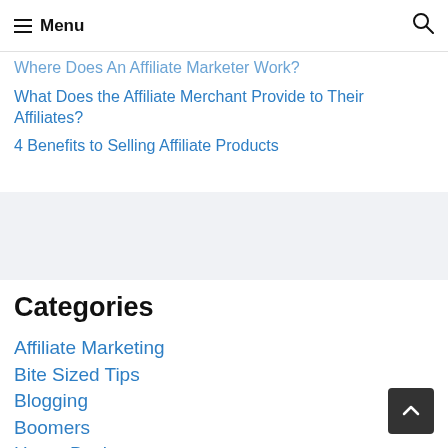Menu
Where Does An Affiliate Marketer Work?
What Does the Affiliate Merchant Provide to Their Affiliates?
4 Benefits to Selling Affiliate Products
Categories
Affiliate Marketing
Bite Sized Tips
Blogging
Boomers
Home Business